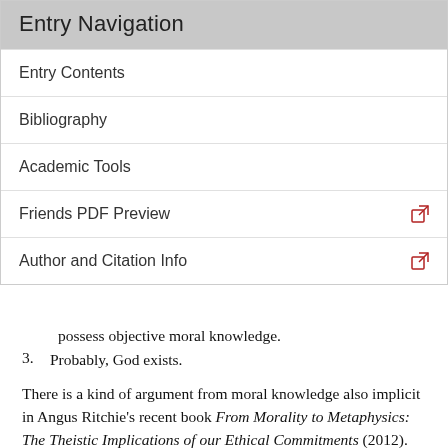Entry Navigation
Entry Contents
Bibliography
Academic Tools
Friends PDF Preview
Author and Citation Info
possess objective moral knowledge.
3. Probably, God exists.
There is a kind of argument from moral knowledge also implicit in Angus Ritchie's recent book From Morality to Metaphysics: The Theistic Implications of our Ethical Commitments (2012). Ritchie presses a kind of dilemma on non-theistic accounts of morality. Subjectivist theories such as expressivism can certainly make sense of the fact that we make the ethical judgments we do, but they empty morality of its objective authority. Objectivist theories